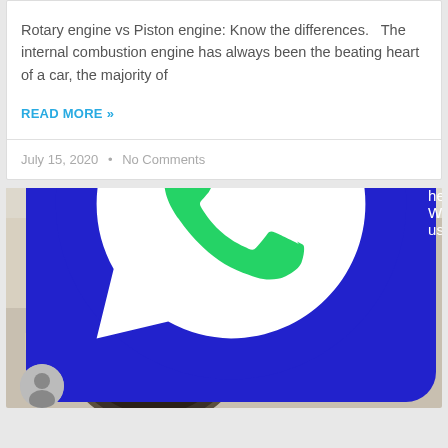Rotary engine vs Piston engine: Know the differences.   The internal combustion engine has always been the beating heart of a car, the majority of
READ MORE »
July 15, 2020  •  No Comments
[Figure (photo): Close-up photo of engine valves (intake and exhaust), dark metallic circular valve faces visible. Text labels 'ARTICLES', 'INTAKE', and 'EXH...' overlaid on image. A blue WhatsApp help button overlaid at bottom.]